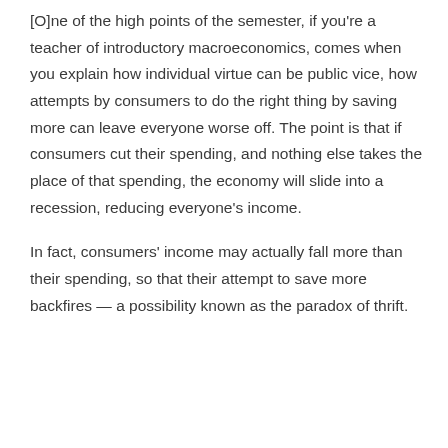[O]ne of the high points of the semester, if you're a teacher of introductory macroeconomics, comes when you explain how individual virtue can be public vice, how attempts by consumers to do the right thing by saving more can leave everyone worse off. The point is that if consumers cut their spending, and nothing else takes the place of that spending, the economy will slide into a recession, reducing everyone's income.
In fact, consumers' income may actually fall more than their spending, so that their attempt to save more backfires — a possibility known as the paradox of thrift.